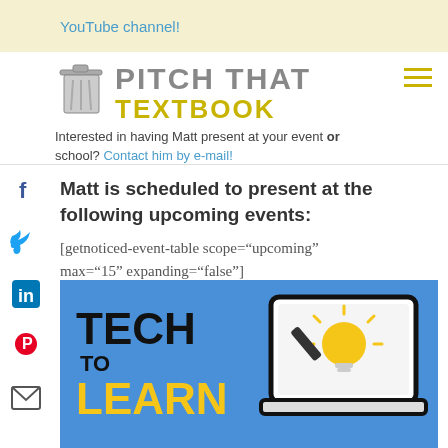YouTube channel!
[Figure (logo): Pitch That Textbook logo with trash can icon and yellow/grey text]
Interested in having Matt present at your event or school? Contact him by e-mail!
Matt is scheduled to present at the following upcoming events:
[getnoticed-event-table scope="upcoming" max="15" expanding="false"]
[Figure (infographic): Tech to Learn banner with blue background, bold black and yellow text reading TECH TO LEARN, and a laptop icon with a lightbulb on screen]